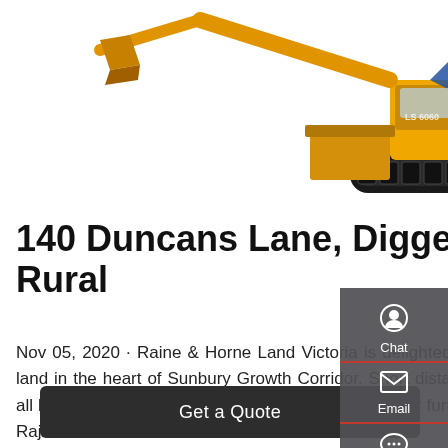[Figure (photo): Yellow excavator / bulldozer construction equipment on white background, partially cropped at top]
140 Duncans Lane, Diggers Rest VIC 3427 - Sold Rural
Nov 05, 2020 · Raine & Horne Land Victoria is delighted to offer an exceptional opportunity to secure acreage land in the heart of Sunbury Growth Corridor. Short distance to Diggers Rest train station, Sunbury central and all local amenities in Sunbury and Water gardens. For further information, please contact Harvir 0421 452 651 or Rajwinder 0432 499 044.
Get a Quote